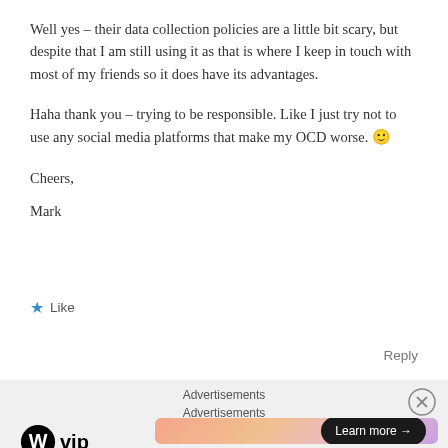Well yes – their data collection policies are a little bit scary, but despite that I am still using it as that is where I keep in touch with most of my friends so it does have its advantages.
Haha thank you – trying to be responsible. Like I just try not to use any social media platforms that make my OCD worse. 🙂
Cheers,
Mark
★ Like
Reply
Advertisements
Advertisements
[Figure (logo): WordPress VIP logo with circular W icon and 'vip' text]
[Figure (infographic): Advertisement banner with gradient pink-orange background and 'Learn more →' button]